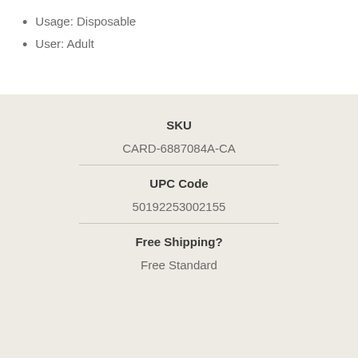Usage: Disposable
User: Adult
| SKU | UPC Code | Free Shipping? |
| --- | --- | --- |
| CARD-6887084A-CA | 50192253002155 | Free Standard |